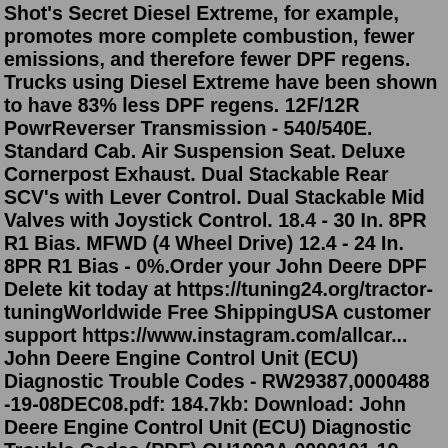Shot's Secret Diesel Extreme, for example, promotes more complete combustion, fewer emissions, and therefore fewer DPF regens. Trucks using Diesel Extreme have been shown to have 83% less DPF regens. 12F/12R PowrReverser Transmission - 540/540E. Standard Cab. Air Suspension Seat. Deluxe Cornerpost Exhaust. Dual Stackable Rear SCV's with Lever Control. Dual Stackable Mid Valves with Joystick Control. 18.4 - 30 In. 8PR R1 Bias. MFWD (4 Wheel Drive) 12.4 - 24 In. 8PR R1 Bias - 0%.Order your John Deere DPF Delete kit today at https://tuning24.org/tractor-tuningWorldwide Free ShippingUSA customer support https://www.instagram.com/allcar... John Deere Engine Control Unit (ECU) Diagnostic Trouble Codes - RW29387,0000488 -19-08DEC08.pdf: 184.7kb: Download: John Deere Engine Control Unit (ECU) Diagnostic Trouble Codes (PDF) OU1092A,0000101-19-20090909.pdf: 92.3kb: Download: John Deere Engine Control Unit Diagnostic Trouble Codes - BL04947,0000165-19-20101124.pdf: 140.4kb: